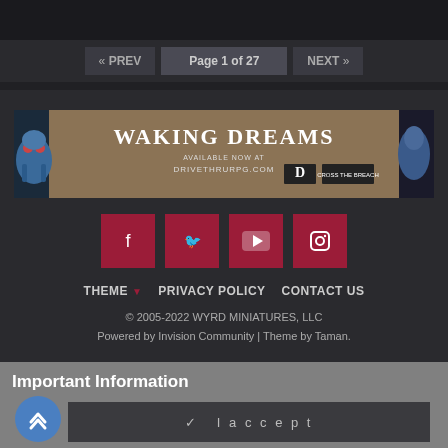« PREV  Page 1 of 27  NEXT »
[Figure (illustration): Waking Dreams advertisement banner for Wyrd Miniatures — Available Now at drivethrurpg.com, with fantasy creature artwork on left and right sides]
[Figure (infographic): Social media icon buttons: Facebook, Twitter, YouTube, Instagram — dark red/crimson square buttons]
THEME ▼   PRIVACY POLICY   CONTACT US
© 2005-2022 WYRD MINIATURES, LLC
Powered by Invision Community | Theme by Taman.
Important Information
✓  I accept